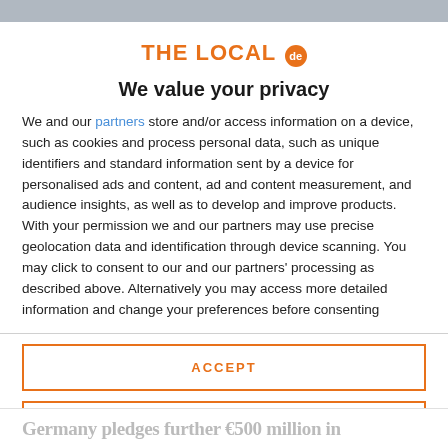[Figure (logo): THE LOCAL de logo in orange with circular 'de' badge]
We value your privacy
We and our partners store and/or access information on a device, such as cookies and process personal data, such as unique identifiers and standard information sent by a device for personalised ads and content, ad and content measurement, and audience insights, as well as to develop and improve products. With your permission we and our partners may use precise geolocation data and identification through device scanning. You may click to consent to our and our partners' processing as described above. Alternatively you may access more detailed information and change your preferences before consenting
ACCEPT
MORE OPTIONS
Germany pledges further €500 million in